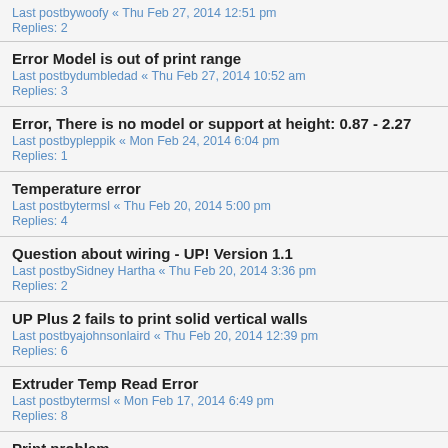Last postbywoofy « Thu Feb 27, 2014 12:51 pm
Replies: 2
Error Model is out of print range
Last postbydumbledad « Thu Feb 27, 2014 10:52 am
Replies: 3
Error, There is no model or support at height: 0.87 - 2.27
Last postbypleppik « Mon Feb 24, 2014 6:04 pm
Replies: 1
Temperature error
Last postbytermsl « Thu Feb 20, 2014 5:00 pm
Replies: 4
Question about wiring - UP! Version 1.1
Last postbySidney Hartha « Thu Feb 20, 2014 3:36 pm
Replies: 2
UP Plus 2 fails to print solid vertical walls
Last postbyajohnsonlaird « Thu Feb 20, 2014 12:39 pm
Replies: 6
Extruder Temp Read Error
Last postbytermsl « Mon Feb 17, 2014 6:49 pm
Replies: 8
Print problem
Last postbyPrinter3d.co.id « Mon Feb 17, 2014 8:57 am